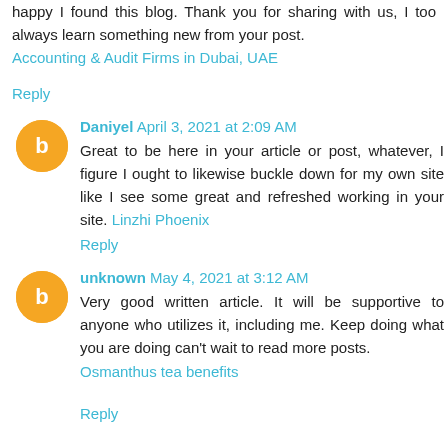happy I found this blog. Thank you for sharing with us, I too always learn something new from your post.
Accounting & Audit Firms in Dubai, UAE
Reply
Daniyel  April 3, 2021 at 2:09 AM
Great to be here in your article or post, whatever, I figure I ought to likewise buckle down for my own site like I see some great and refreshed working in your site. Linzhi Phoenix
Reply
unknown  May 4, 2021 at 3:12 AM
Very good written article. It will be supportive to anyone who utilizes it, including me. Keep doing what you are doing can't wait to read more posts.
Osmanthus tea benefits
Reply